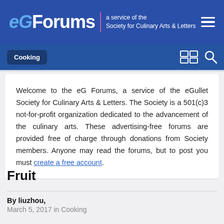eGForums — a service of the Society for Culinary Arts & Letters
Welcome to the eG Forums, a service of the eGullet Society for Culinary Arts & Letters. The Society is a 501(c)3 not-for-profit organization dedicated to the advancement of the culinary arts. These advertising-free forums are provided free of charge through donations from Society members. Anyone may read the forums, but to post you must create a free account.
Fruit
By liuzhou,
March 5, 2017 in Cooking